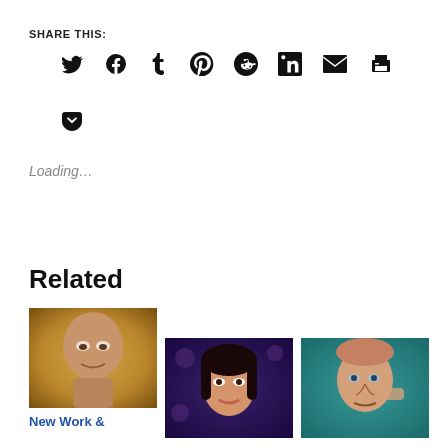SHARE THIS:
[Figure (other): Social share icons: Twitter, Facebook, Tumblr, Pinterest, Reddit, LinkedIn, Email, Print, Pocket]
Loading…
Related
[Figure (photo): Painting/illustration of an older bald man's face with a surreal quality]
[Figure (photo): Painting/illustration of a young woman's face on dark floral background]
[Figure (photo): Painting/illustration of an older man's face on teal background]
New Work &